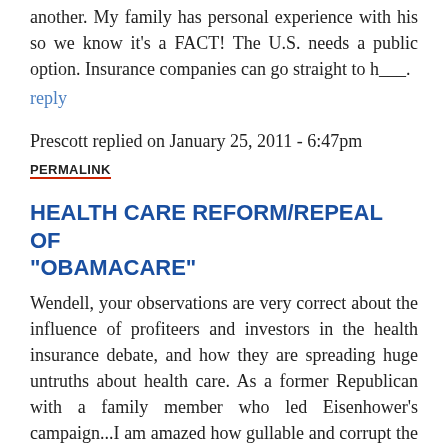another. My family has personal experience with his so we know it's a FACT! The U.S. needs a public option. Insurance companies can go straight to h___.
reply
Prescott replied on January 25, 2011 - 6:47pm
PERMALINK
HEALTH CARE REFORM/REPEAL OF "OBAMACARE"
Wendell, your observations are very correct about the influence of profiteers and investors in the health insurance debate, and how they are spreading huge untruths about health care. As a former Republican with a family member who led Eisenhower's campaign...I am amazed how gullable and corrupt the party has become since the Nixon Administration. Also, most Republican officials have no idea what the people in the country are American...what